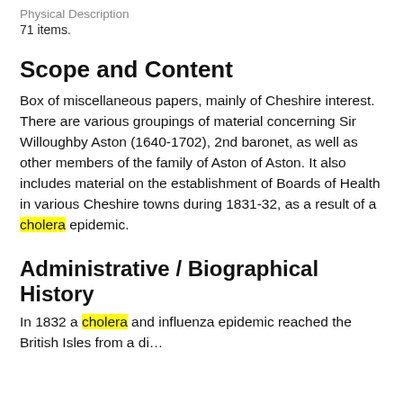Physical Description
71 items.
Scope and Content
Box of miscellaneous papers, mainly of Cheshire interest. There are various groupings of material concerning Sir Willoughby Aston (1640-1702), 2nd baronet, as well as other members of the family of Aston of Aston. It also includes material on the establishment of Boards of Health in various Cheshire towns during 1831-32, as a result of a cholera epidemic.
Administrative / Biographical History
In 1832 a cholera and influenza epidemic reached the British Isles from a di…